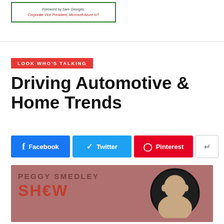[Figure (other): Book or product advertisement with green border, small italic text: 'Foreword by Sam Georges, Corporate Vice President, Microsoft Azure IoT']
LOOK WHO'S TALKING
Driving Automotive & Home Trends
[Figure (infographic): Social sharing buttons: Facebook (blue), Twitter (light blue), Pinterest (red), and a share button (white/grey)]
[Figure (photo): Peggy Smedley Show podcast banner with dark rose/mauve background, large text 'PEGGY SMEDLEY SHOW' and a circular portrait photo of a bald man on the right side]